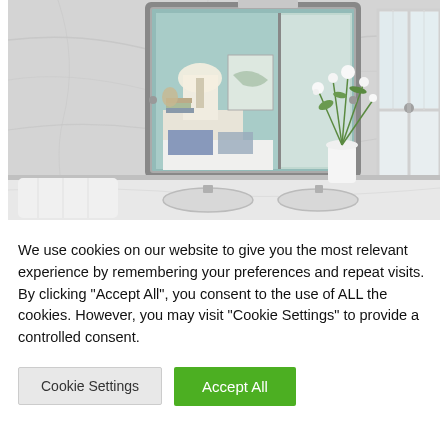[Figure (photo): Bathroom interior with marble-look walls, a large framed mirror reflecting a bedroom with teal/blue walls, a nightstand with lamp, and blue pillows. A white vase with green and white flowers sits on the bathroom counter. A white window with multiple panes is visible on the right side.]
We use cookies on our website to give you the most relevant experience by remembering your preferences and repeat visits. By clicking "Accept All", you consent to the use of ALL the cookies. However, you may visit "Cookie Settings" to provide a controlled consent.